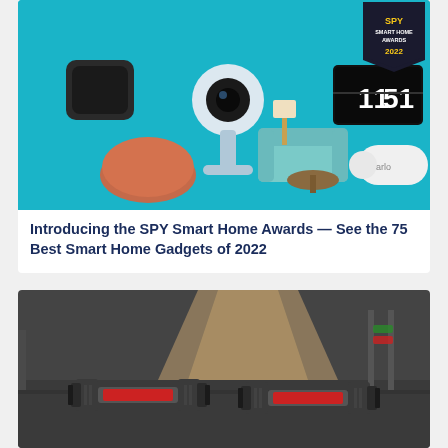[Figure (photo): Smart home devices arranged on a teal/cyan background including security cameras, a Google Home speaker, a flip clock, and an Arlo camera, with a SPY Smart Home Awards 2022 badge in top right corner]
Introducing the SPY Smart Home Awards — See the 75 Best Smart Home Gadgets of 2022
[Figure (photo): Two adjustable dumbbells (Bowflex-style) sitting on a dark rubber gym floor with gym equipment in the background]